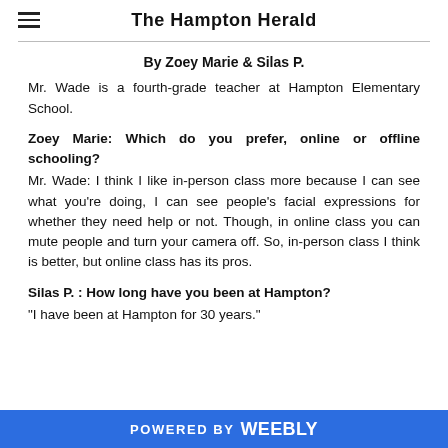The Hampton Herald
By Zoey Marie & Silas P.
Mr. Wade is a fourth-grade teacher at Hampton Elementary School.
Zoey Marie: Which do you prefer, online or offline schooling?
Mr. Wade: I think I like in-person class more because I can see what you're doing, I can see people's facial expressions for whether they need help or not. Though, in online class you can mute people and turn your camera off. So, in-person class I think is better, but online class has its pros.
Silas P. : How long have you been at Hampton?
"I have been at Hampton for 30 years."
POWERED BY weebly